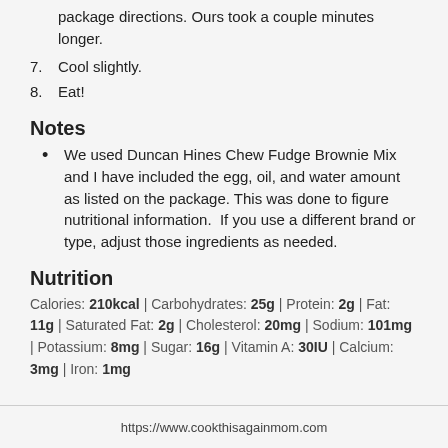6. Bake the Hines Butter Chocolate Chip Brownies according to package directions. Ours took a couple minutes longer.
7. Cool slightly.
8. Eat!
Notes
We used Duncan Hines Chew Fudge Brownie Mix and I have included the egg, oil, and water amount as listed on the package. This was done to figure nutritional information.  If you use a different brand or type, adjust those ingredients as needed.
Nutrition
Calories: 210kcal | Carbohydrates: 25g | Protein: 2g | Fat: 11g | Saturated Fat: 2g | Cholesterol: 20mg | Sodium: 101mg | Potassium: 8mg | Sugar: 16g | Vitamin A: 30IU | Calcium: 3mg | Iron: 1mg
https://www.cookthisagainmom.com